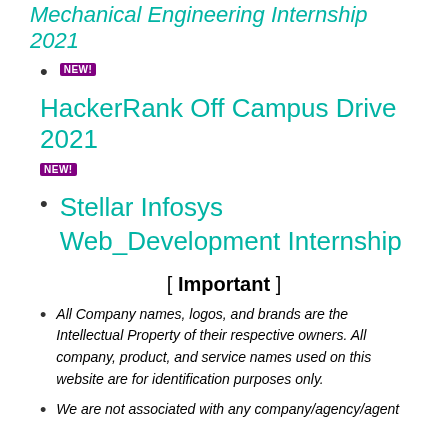Mechanical Engineering Internship 2021
NEW!
HackerRank Off Campus Drive 2021
NEW!
Stellar Infosys Web_Development Internship
[ Important ]
All Company names, logos, and brands are the Intellectual Property of their respective owners. All company, product, and service names used on this website are for identification purposes only.
We are not associated with any company/agency/agent